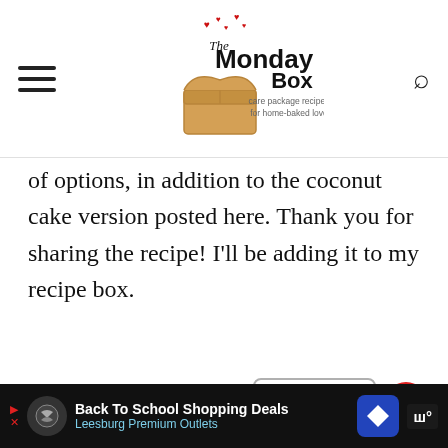The Monday Box — care package recipes for home-baked love
of options, in addition to the coconut cake version posted here. Thank you for sharing the recipe! I'll be adding it to my recipe box.
REPLY
Wendy Sondov
May 24, 2021 at 9:14 am
WHAT'S NEXT → Coconut Milk Cookies
Back To School Shopping Deals Leesburg Premium Outlets